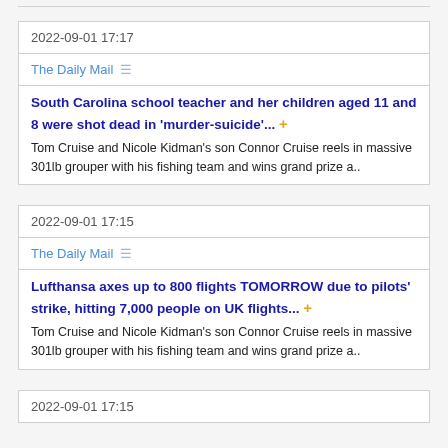2022-09-01 17:17
The Daily Mail
South Carolina school teacher and her children aged 11 and 8 were shot dead in 'murder-suicide'... +
Tom Cruise and Nicole Kidman's son Connor Cruise reels in massive 301lb grouper with his fishing team and wins grand prize a..
2022-09-01 17:15
The Daily Mail
Lufthansa axes up to 800 flights TOMORROW due to pilots' strike, hitting 7,000 people on UK flights... +
Tom Cruise and Nicole Kidman's son Connor Cruise reels in massive 301lb grouper with his fishing team and wins grand prize a..
2022-09-01 17:15